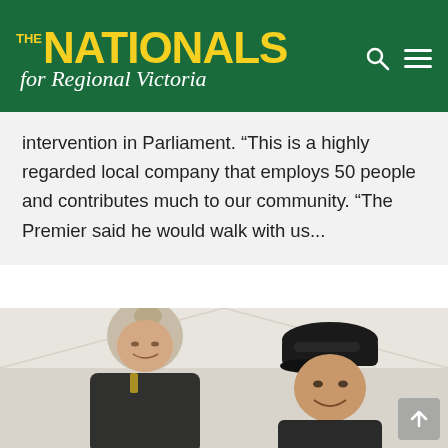THE NATIONALS for Regional Victoria
intervention in Parliament. “This is a highly regarded local company that employs 50 people and contributes much to our community. “The Premier said he would walk with us...
[Figure (photo): Two people indoors under a white tent or marquee — a woman with blonde hair in a bun wearing a black jacket on the left, and a man wearing a black cap and dark clothing on the right, both appearing to be in conversation.]